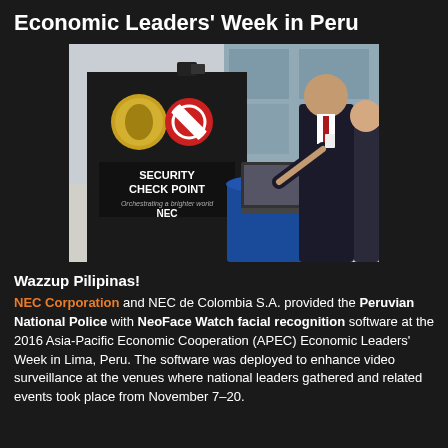Economic Leaders' Week in Peru
[Figure (photo): A man in a dark suit and red tie demonstrating a NEC Security Check Point kiosk with facial recognition technology. The kiosk is a dark booth with the Peruvian national emblem logo, a red prohibition sign, and the text 'SECURITY CHECK POINT' and 'NEC'. A laptop is open on a blue-draped table beside the booth.]
Wazzup Pilipinas!
NEC Corporation and NEC de Colombia S.A. provided the Peruvian National Police with NeoFace Watch facial recognition software at the 2016 Asia-Pacific Economic Cooperation (APEC) Economic Leaders' Week in Lima, Peru. The software was deployed to enhance video surveillance at the venues where national leaders gathered and related events took place from November 7–20.